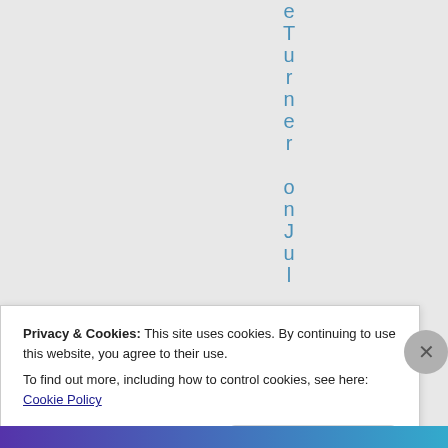eTurner on Jul
Privacy & Cookies: This site uses cookies. By continuing to use this website, you agree to their use.
To find out more, including how to control cookies, see here: Cookie Policy
Close and accept